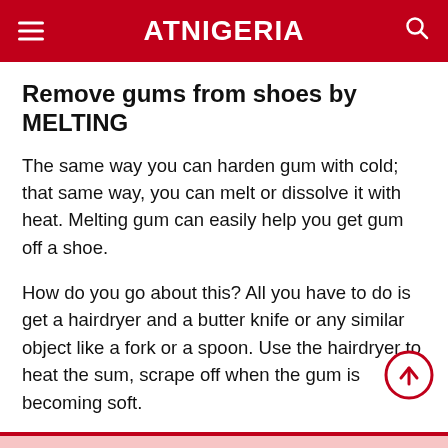ATNIGERIA
Remove gums from shoes by MELTING
The same way you can harden gum with cold; that same way, you can melt or dissolve it with heat. Melting gum can easily help you get gum off a shoe.
How do you go about this? All you have to do is get a hairdryer and a butter knife or any similar object like a fork or a spoon. Use the hairdryer to heat the sum, scrape off when the gum is becoming soft.